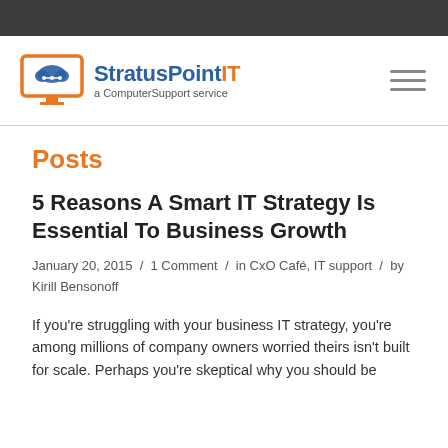[Figure (logo): StratusPointIT logo with orange computer monitor icon and blue/orange text reading 'StratusPointIT a ComputerSupport service']
Posts
5 Reasons A Smart IT Strategy Is Essential To Business Growth
January 20, 2015 / 1 Comment / in CxO Café, IT support / by Kirill Bensonoff
If you're struggling with your business IT strategy, you're among millions of company owners worried theirs isn't built for scale. Perhaps you're skeptical why you should be